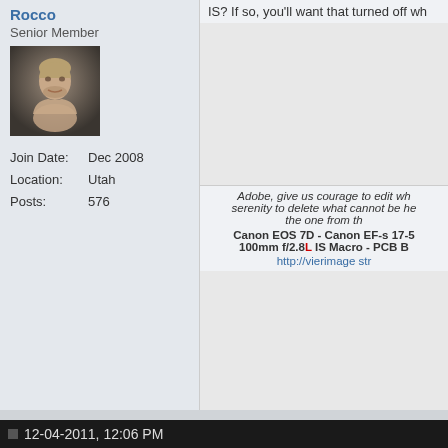Senior Member
[Figure (photo): Avatar photo of a shirtless male fighter]
Join Date: Dec 2008
Location: Utah
Posts: 576
IS? If so, you'll want that turned off wh
Adobe, give us courage to edit wh serenity to delete what cannot be he the one from th Canon EOS 7D - Canon EF-s 17-5 100mm f/2.8L IS Macro - PCB B http://vierimage str
12-04-2011, 12:06 PM
andnowimbroke
Senior Member
Join Date: Dec 2008
Location: IL
Posts: 778
Good point! I forgot about that. Some a tripod and shut the IS off for you, bu don't think Sigma has that in their lens